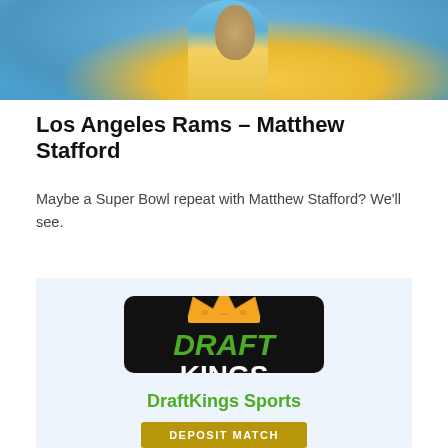[Figure (photo): Partial photo of a football player in blue and yellow uniform at the top of the page]
Los Angeles Rams – Matthew Stafford
Maybe a Super Bowl repeat with Matthew Stafford? We'll see.
[Figure (logo): DraftKings logo on black background — orange crown above green DRAFT text and white KINGS text]
DraftKings Sports
DEPOSIT MATCH